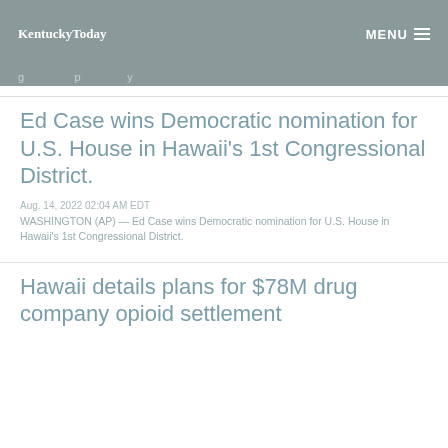KentuckyToday
g  p  y
Ed Case wins Democratic nomination for U.S. House in Hawaii's 1st Congressional District.
Aug. 14, 2022 02:04 AM EDT
WASHINGTON (AP) — Ed Case wins Democratic nomination for U.S. House in Hawaii's 1st Congressional District.
Hawaii details plans for $78M drug company opioid settlement